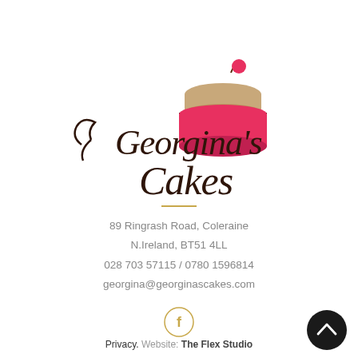[Figure (logo): Georgina's Cakes logo: cursive script text with a layered cake illustration featuring pink, brown layers and a red cherry on top]
89 Ringrash Road, Coleraine
N.Ireland, BT51 4LL
028 703 57115 / 0780 1596814
georgina@georginascakes.com
[Figure (other): Facebook icon in a circle with gold border]
Privacy. Website: The Flex Studio
[Figure (other): Dark back-to-top arrow button circle in bottom right corner]